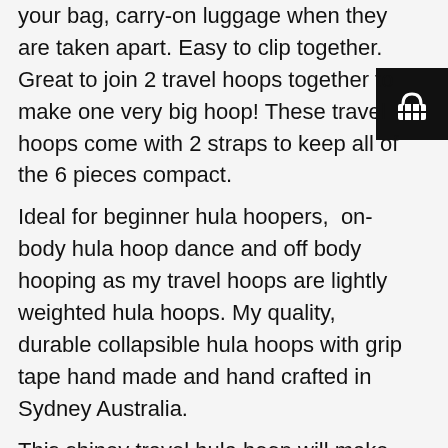your bag, carry-on luggage when they are taken apart. Easy to clip together. Great to join 2 travel hoops together to make one very big hoop! These travel hoops come with 2 straps to keep all of the 6 pieces compact. Ideal for beginner hula hoopers,  on-body hula hoop dance and off body hooping as my travel hoops are lightly weighted hula hoops. My quality, durable collapsible hula hoops with grip tape hand made and hand crafted in Sydney Australia.
This shiney travel hula hoop will make you jump out of your chair and get your hoop moves on! Hula hoop fitness and hoop dance is a great way of maintaining your fitness and a great form of movement which keeps challenging your co-ordination and balance.
These travel hula hoops for sale are decorated with grip tape to help your travel hoop grip to your clothes or skin as you spin it up into your hoop dance practice, this
[Figure (illustration): Shopping cart / basket icon, white on black background, top-right corner]